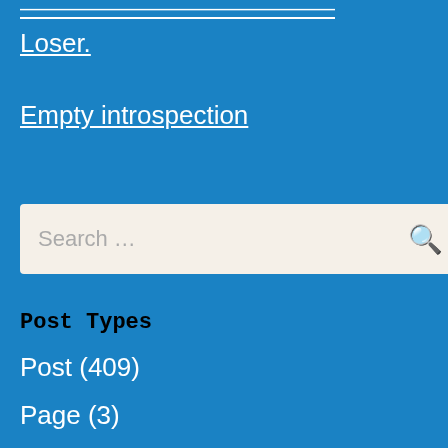Loser.
Empty introspection
Search ...
Post Types
Post (409)
Page (3)
Categories
Therapy (106)
A Little Broken, But A Smidge of Hope (99)